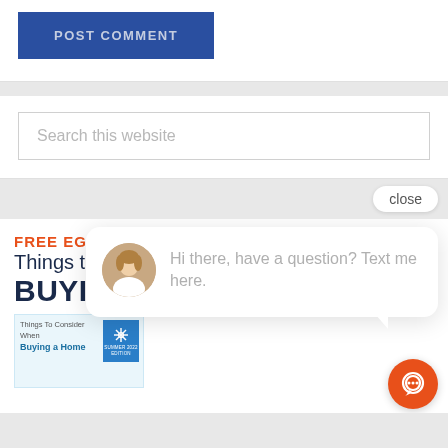[Figure (screenshot): Blue 'POST COMMENT' button]
[Figure (screenshot): Search box with placeholder 'Search this website']
close
FREE EGUIDE
Things to
BUYING A HOME
[Figure (screenshot): Chat popup with avatar and message: Hi there, have a question? Text me here.]
[Figure (illustration): Book cover: Things To Consider When Buying a Home - Summer 2022 Edition]
[Figure (other): Orange chat FAB button with speech bubble icon]